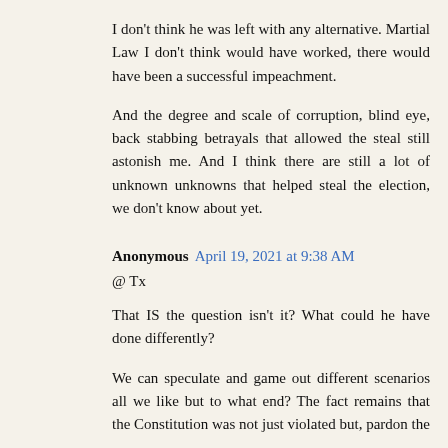I don't think he was left with any alternative. Martial Law I don't think would have worked, there would have been a successful impeachment.
And the degree and scale of corruption, blind eye, back stabbing betrayals that allowed the steal still astonish me. And I think there are still a lot of unknown unknowns that helped steal the election, we don't know about yet.
Anonymous  April 19, 2021 at 9:38 AM
@ Tx
That IS the question isn't it? What could he have done differently?
We can speculate and game out different scenarios all we like but to what end? The fact remains that the Constitution was not just violated but, pardon the